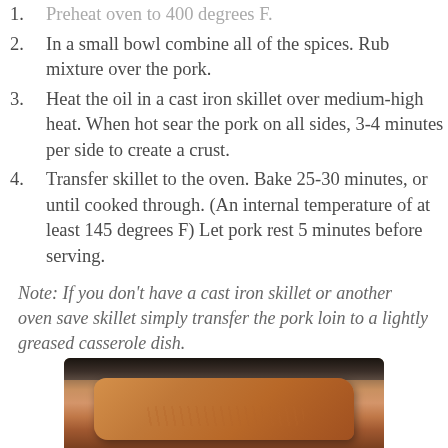2. In a small bowl combine all of the spices. Rub mixture over the pork.
3. Heat the oil in a cast iron skillet over medium-high heat. When hot sear the pork on all sides, 3-4 minutes per side to create a crust.
4. Transfer skillet to the oven. Bake 25-30 minutes, or until cooked through. (An internal temperature of at least 145 degrees F) Let pork rest 5 minutes before serving.
Note: If you don't have a cast iron skillet or another oven save skillet simply transfer the pork loin to a lightly greased casserole dish.
[Figure (photo): Photo of pork loin seared in a dark cast iron skillet, viewed from above, showing browned meat surface]